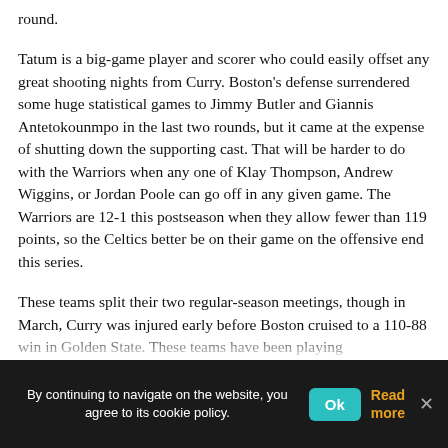round.
Tatum is a big-game player and scorer who could easily offset any great shooting nights from Curry. Boston's defense surrendered some huge statistical games to Jimmy Butler and Giannis Antetokounmpo in the last two rounds, but it came at the expense of shutting down the supporting cast. That will be harder to do with the Warriors when any one of Klay Thompson, Andrew Wiggins, or Jordan Poole can go off in any given game. The Warriors are 12-1 this postseason when they allow fewer than 119 points, so the Celtics better be on their game on the offensive end this series.
These teams split their two regular-season meetings, though in March, Curry was injured early before Boston cruised to a 110-88 win in Golden State. These teams have been playing against a lot of opponents and...
By continuing to navigate on the website, you agree to its cookie policy. Ok Read more ×